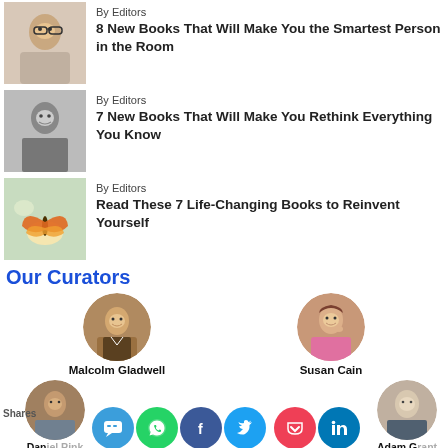By Editors
8 New Books That Will Make You the Smartest Person in the Room
[Figure (photo): Woman with glasses touching her head]
By Editors
7 New Books That Will Make You Rethink Everything You Know
[Figure (photo): Black and white photo of a child]
By Editors
Read These 7 Life-Changing Books to Reinvent Yourself
[Figure (photo): Butterfly on a flower]
Our Curators
[Figure (photo): Circular portrait of Malcolm Gladwell]
Malcolm Gladwell
[Figure (photo): Circular portrait of Susan Cain]
Susan Cain
Shares
[Figure (photo): Circular portrait of Daniel Pink (partially visible)]
Daniel Pink
[Figure (photo): Circular portrait of Adam Grant (partially visible)]
Adam Grant